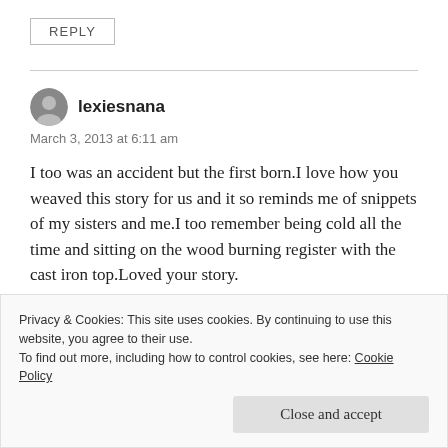REPLY
lexiesnana
March 3, 2013 at 6:11 am
I too was an accident but the first born.I love how you weaved this story for us and it so reminds me of snippets of my sisters and me.I too remember being cold all the time and sitting on the wood burning register with the cast iron top.Loved your story.
Privacy & Cookies: This site uses cookies. By continuing to use this website, you agree to their use.
To find out more, including how to control cookies, see here: Cookie Policy
Close and accept